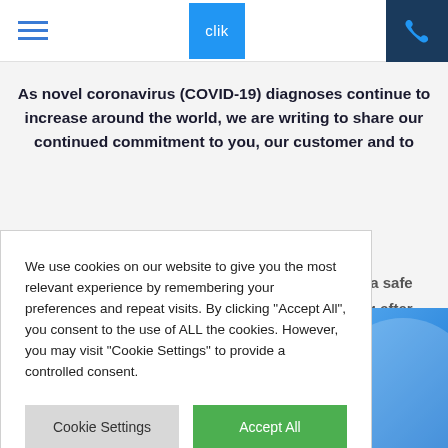clik
As novel coronavirus (COVID-19) diagnoses continue to increase around the world, we are writing to share our continued commitment to you, our customer and to
vide a safe
oking after their
We use cookies on our website to give you the most relevant experience by remembering your preferences and repeat visits. By clicking "Accept All", you consent to the use of ALL the cookies. However, you may visit "Cookie Settings" to provide a controlled consent.
Cookie Settings | Accept All